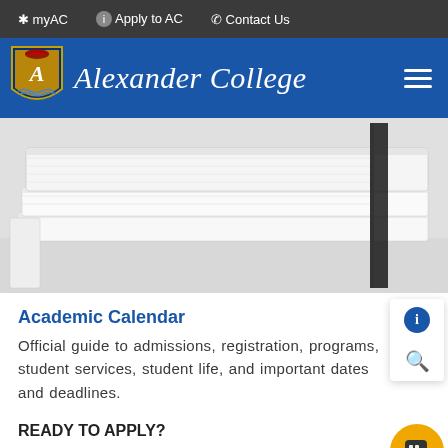* myAC   i Apply to AC   Contact Us
[Figure (logo): Alexander College navigation bar with shield logo and college name in italic script on blue background with hamburger menu]
[Figure (photo): Close-up photo of stacked white books/binders with a dark bookmark/pen visible on white surface]
Academic Calendar
Official guide to admissions, registration, programs, student services, student life, and important dates and deadlines.
READY TO APPLY?